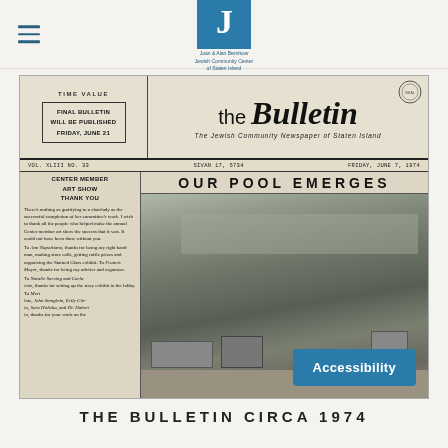Joan & Alan Bernikow Jewish Community Center of Staten Island
[Figure (photo): Scanned front page of 'the Bulletin' newspaper circa 1974. Shows masthead, a box announcing 'FINAL BULLETIN WILL BE PUBLISHED FRIDAY, JUNE 21', headline 'OUR POOL EMERGES' with a black-and-white construction photo of a pool being built, and a column on the left about 'CENTER MEMBER ART SHOW THANK YOU'. An Accessibility button overlay appears at the bottom right.]
THE BULLETIN CIRCA 1974